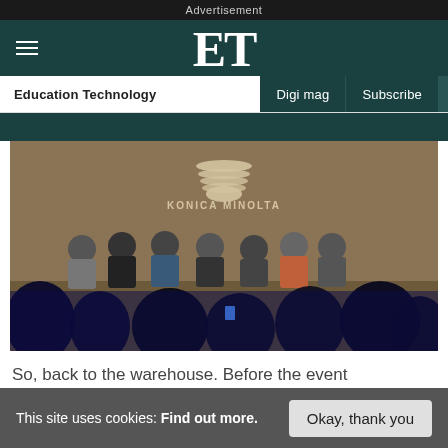Advertisement
ET — Education Technology | Digi mag | Subscribe
[Figure (photo): Panel discussion event in front of a Konica Minolta branded backdrop. Seven panelists seated in a row on stage, illuminated by stage lighting, with a dark silhouetted audience in the foreground.]
So, back to the warehouse. Before the event
This site uses cookies: Find out more.